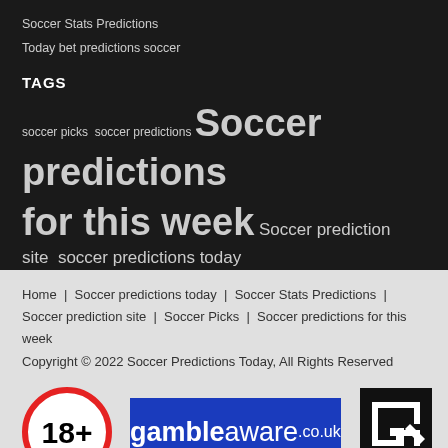Soccer Stats Predictions
Today bet predictions soccer
TAGS
soccer picks soccer predictions Soccer predictions for this week Soccer prediction site soccer predictions today Soccer predictions tomorrow soccer tips today bet predictions soccer Today football match prediction banker Top platform football prediction
Home | Soccer predictions today | Soccer Stats Predictions | Soccer prediction site | Soccer Picks | Soccer predictions for this week
Copyright © 2022 Soccer Predictions Today, All Rights Reserved
[Figure (logo): 18+ age restriction badge, gambleaware.co.uk logo, GamCare logo]